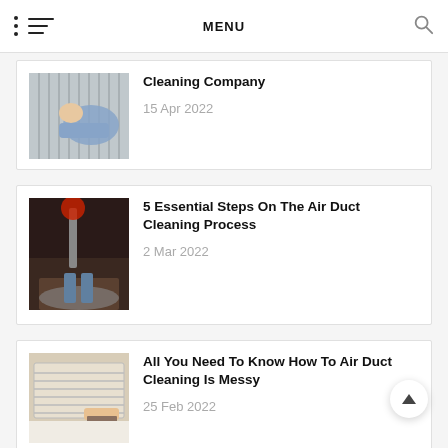MENU
Cleaning Company
15 Apr 2022
[Figure (photo): Person cleaning air duct/vent, lying down, wearing blue shirt]
5 Essential Steps On The Air Duct Cleaning Process
2 Mar 2022
[Figure (photo): Person cleaning air duct with brush equipment from below ceiling vent]
All You Need To Know How To Air Duct Cleaning Is Messy
25 Feb 2022
[Figure (photo): Person cleaning air vent/grille on wall or ceiling with brush]